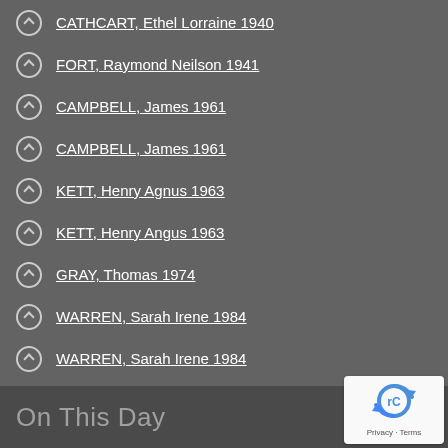CATHCART, Ethel Lorraine 1940
FORT, Raymond Neilson 1941
CAMPBELL, James 1961
CAMPBELL, James 1961
KETT, Henry Agnus 1963
KETT, Henry Angus 1963
GRAY, Thomas 1974
WARREN, Sarah Irene 1984
WARREN, Sarah Irene 1984
HOLCOMB, Ronald Dickerman 2001
MCNABB, Ila-Jean 2009
SHEEDY, Patricia 2020
SHEEDY, Patricia 2020
SHEEDY, Patricia 2020
On This Day